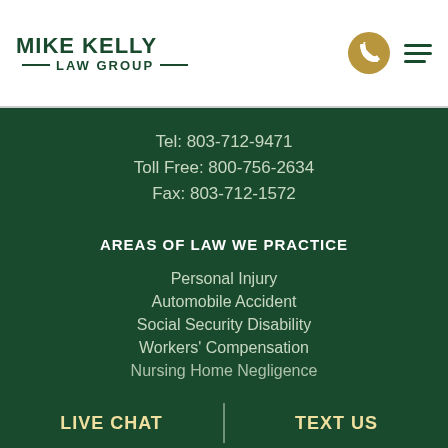[Figure (logo): Mike Kelly Law Group logo — green text with decorative horizontal lines flanking 'LAW GROUP']
Tel: 803-712-9471
Toll Free: 800-756-2634
Fax: 803-712-1572
AREAS OF LAW WE PRACTICE
Personal Injury
Automobile Accident
Social Security Disability
Workers' Compensation
Nursing Home Negligence
LIVE CHAT
TEXT US